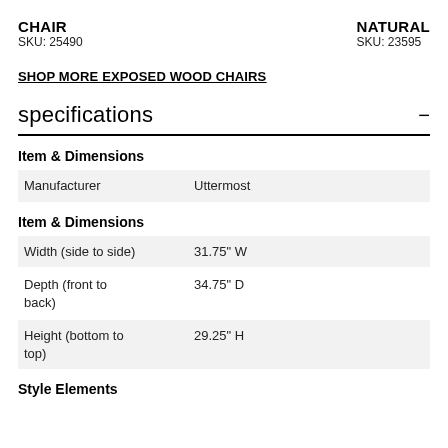CHAIR
SKU: 25490
NATURAL
SKU: 23595
SHOP MORE EXPOSED WOOD CHAIRS
specifications
Item & Dimensions
|  |  |
| --- | --- |
| Manufacturer | Uttermost |
Item & Dimensions
|  |  |
| --- | --- |
| Width (side to side) | 31.75" W |
| Depth (front to back) | 34.75" D |
| Height (bottom to top) | 29.25" H |
Style Elements